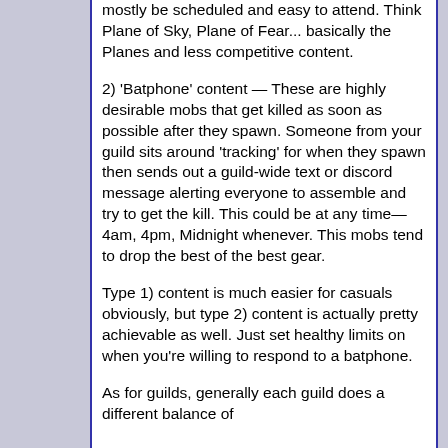mostly be scheduled and easy to attend. Think Plane of Sky, Plane of Fear... basically the Planes and less competitive content.
2) 'Batphone' content — These are highly desirable mobs that get killed as soon as possible after they spawn. Someone from your guild sits around 'tracking' for when they spawn then sends out a guild-wide text or discord message alerting everyone to assemble and try to get the kill. This could be at any time—4am, 4pm, Midnight whenever. This mobs tend to drop the best of the best gear.
Type 1) content is much easier for casuals obviously, but type 2) content is actually pretty achievable as well. Just set healthy limits on when you're willing to respond to a batphone.
As for guilds, generally each guild does a different balance of